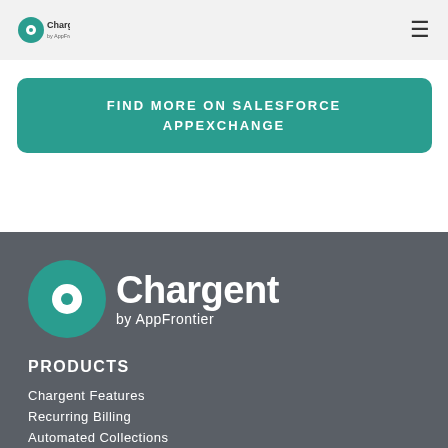Chargent by AppFrontier
FIND MORE ON SALESFORCE APPEXCHANGE
[Figure (logo): Chargent by AppFrontier logo - white version on dark grey background]
PRODUCTS
Chargent Features
Recurring Billing
Automated Collections
Chargent Connect